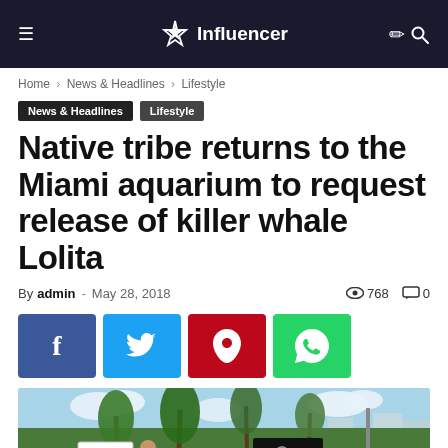Influencer
Home › News & Headlines › Lifestyle
News & Headlines   Lifestyle
Native tribe returns to the Miami aquarium to request release of killer whale Lolita
By admin - May 28, 2018   768   0
[Figure (photo): Protesters with signs outside Miami Seaquarium with palm trees and buildings in background, including a sign reading 'Orcas for Lolita's Release']